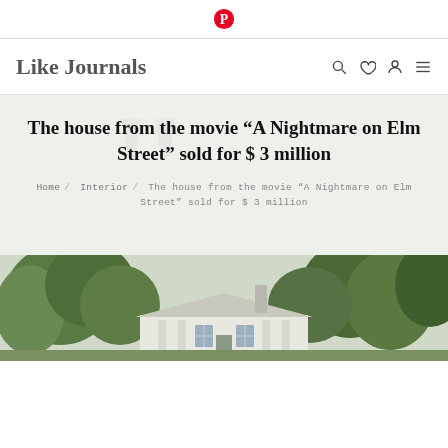Pinterest icon bar
Like Journals
The house from the movie “A Nightmare on Elm Street” sold for $ 3 million
Home / Interior / The house from the movie “A Nightmare on Elm Street” sold for $ 3 million
[Figure (photo): Photo of the house from A Nightmare on Elm Street — a white colonial house partially obscured by large green trees]